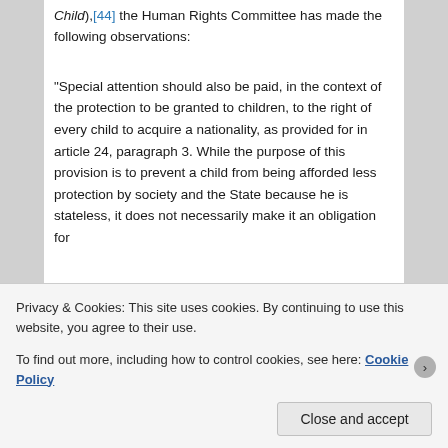Child),[44] the Human Rights Committee has made the following observations:
“Special attention should also be paid, in the context of the protection to be granted to children, to the right of every child to acquire a nationality, as provided for in article 24, paragraph 3. While the purpose of this provision is to prevent a child from being afforded less protection by society and the State because he is stateless, it does not necessarily make it an obligation for
Privacy & Cookies: This site uses cookies. By continuing to use this website, you agree to their use. To find out more, including how to control cookies, see here: Cookie Policy